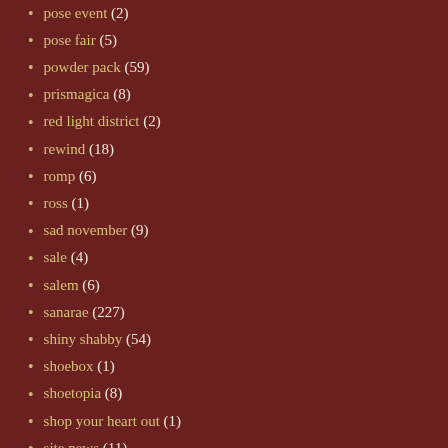pose event (2)
pose fair (5)
powder pack (59)
prismagica (8)
red light district (2)
rewind (18)
romp (6)
ross (1)
sad november (9)
sale (4)
salem (6)
sanarae (227)
shiny shabby (54)
shoebox (1)
shoetopia (8)
shop your heart out (1)
site news (11)